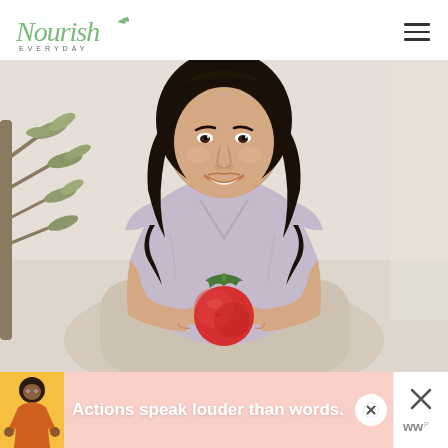[Figure (logo): Nourish Everyday logo — script font in green with EVERYDAY in small caps beneath]
[Figure (photo): Smiling Asian woman with dark wavy hair, wearing a lavender wrap dress, holding a pomegranate toward the camera. Background shows soft-focus olive plant and neutral tones.]
[Figure (infographic): Ad banner with pink/peach background showing a person illustration on left, bold white text 'Actions speak louder than words.', close button (X in circle), and secondary close panel on right with X and stylized logo marks]